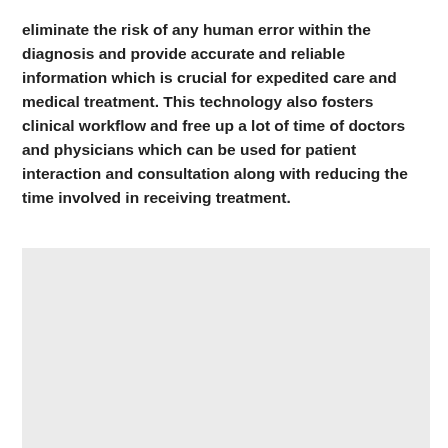eliminate the risk of any human error within the diagnosis and provide accurate and reliable information which is crucial for expedited care and medical treatment. This technology also fosters clinical workflow and free up a lot of time of doctors and physicians which can be used for patient interaction and consultation along with reducing the time involved in receiving treatment.
[Figure (photo): A light grey rectangular image placeholder occupying the lower portion of the page.]